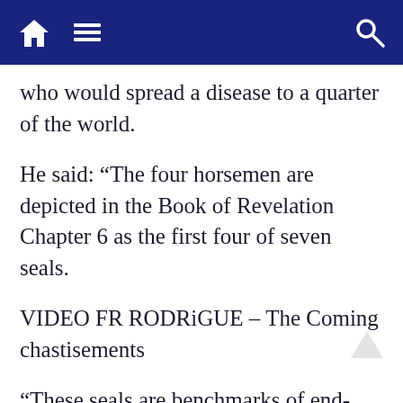Navigation bar with home, menu, and search icons
who would spread a disease to a quarter of the world.
He said: “The four horsemen are depicted in the Book of Revelation Chapter 6 as the first four of seven seals.
VIDEO FR RODRiGUE – The Coming chastisements
“These seals are benchmarks of end-time events leading up to and including the return of J…